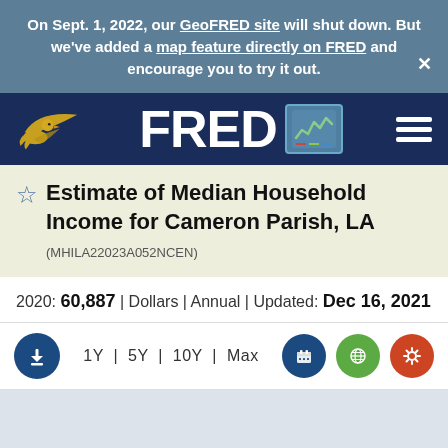On Sept. 1, 2022, our GeoFRED site will shut down. But we've added a map feature directly on FRED and encourage you to try it out. ×
[Figure (screenshot): FRED (Federal Reserve Economic Data) navigation bar with eagle logo, FRED logo with chart icon, and hamburger menu]
Estimate of Median Household Income for Cameron Parish, LA (MHILA22023A052NCEN)
2020: 60,887 | Dollars | Annual | Updated: Dec 16, 2021
1Y | 5Y | 10Y | Max
[Figure (other): Chart area placeholder (light blue-gray background, chart not yet loaded)]